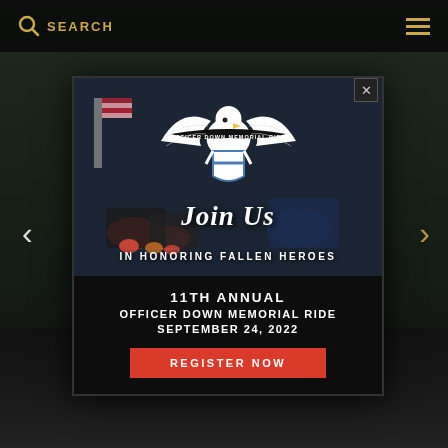SEARCH
[Figure (screenshot): Modal popup overlay on a website showing the Officer Down Memorial Ride event. Contains an eagle logo at top, motorcycle parade photo background, cursive 'Join Us' text, 'IN HONORING FALLEN HEROES', '11TH ANNUAL OFFICER DOWN MEMORIAL RIDE SEPTEMBER 24, 2022', and a red REGISTER NOW button. Navigation arrows visible on left and right sides.]
Join Us
IN HONORING FALLEN HEROES
11TH ANNUAL
OFFICER DOWN MEMORIAL RIDE
SEPTEMBER 24, 2022
REGISTER NOW